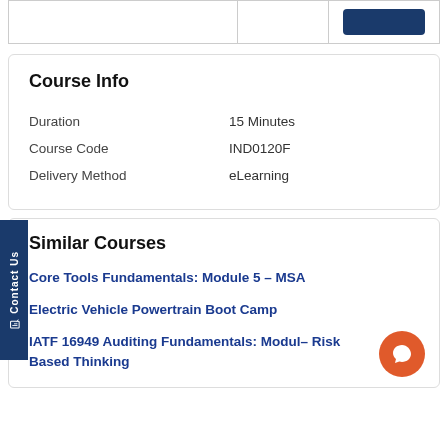|  |  |  |
| --- | --- | --- |
|  |  |  |
Course Info
Duration	15 Minutes
Course Code	IND0120F
Delivery Method	eLearning
Similar Courses
Core Tools Fundamentals: Module 5 – MSA
Electric Vehicle Powertrain Boot Camp
IATF 16949 Auditing Fundamentals: Module – Risk Based Thinking